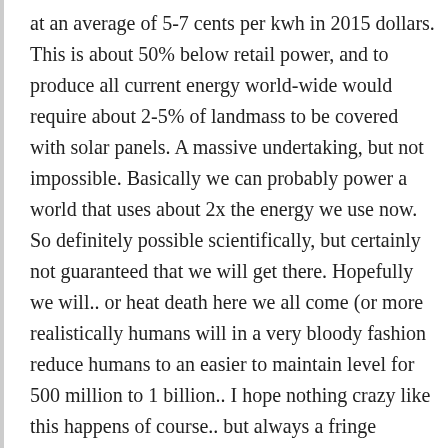at an average of 5-7 cents per kwh in 2015 dollars. This is about 50% below retail power, and to produce all current energy world-wide would require about 2-5% of landmass to be covered with solar panels. A massive undertaking, but not impossible. Basically we can probably power a world that uses about 2x the energy we use now. So definitely possible scientifically, but certainly not guaranteed that we will get there. Hopefully we will.. or heat death here we all come (or more realistically humans will in a very bloody fashion reduce humans to an easier to maintain level for 500 million to 1 billion.. I hope nothing crazy like this happens of course.. but always a fringe possibility)